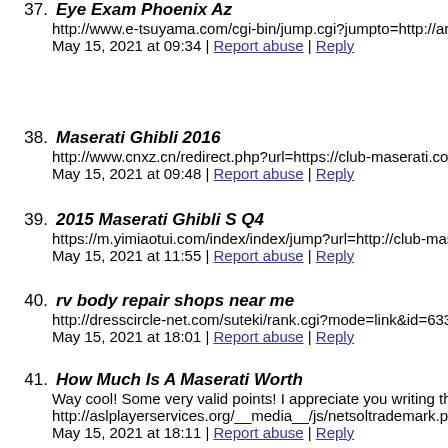37. Eye Exam Phoenix Az
http://www.e-tsuyama.com/cgi-bin/jump.cgi?jumpto=http://ari
May 15, 2021 at 09:34 | Report abuse | Reply
38. Maserati Ghibli 2016
http://www.cnxz.cn/redirect.php?url=https://club-maserati.com
May 15, 2021 at 09:48 | Report abuse | Reply
39. 2015 Maserati Ghibli S Q4
https://m.yimiaotui.com/index/index/jump?url=http://club-mas
May 15, 2021 at 11:55 | Report abuse | Reply
40. rv body repair shops near me
http://dresscircle-net.com/suteki/rank.cgi?mode=link&id=633&
May 15, 2021 at 18:01 | Report abuse | Reply
41. How Much Is A Maserati Worth
Way cool! Some very valid points! I appreciate you writing thi
http://aslplayerservices.org/__media__/js/netsoltrademark.php
May 15, 2021 at 18:11 | Report abuse | Reply